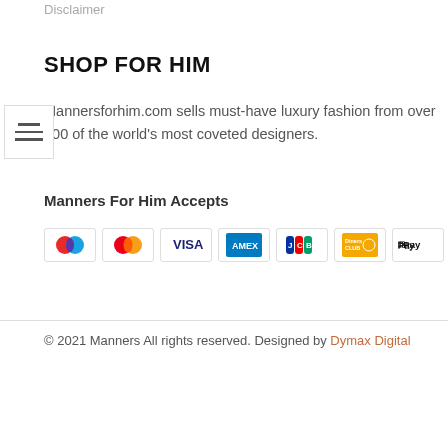Disclaimer
SHOP FOR HIM
Mannersforhim.com sells must-have luxury fashion from over 900 of the world's most coveted designers.
Manners For Him Accepts
[Figure (infographic): Payment method icons: Maestro, Mastercard, Visa, American Express, JCB, Diners Club, Apple Pay, Klarna, PayPal]
© 2021 Manners All rights reserved. Designed by Dymax Digital